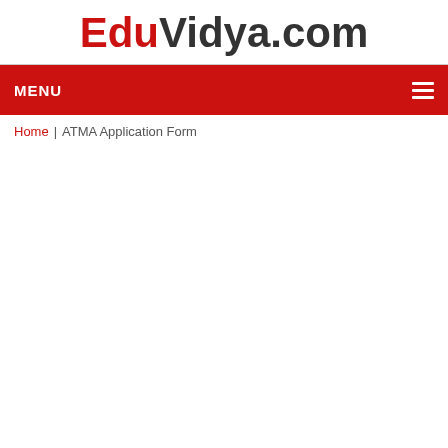EduVidya.com
MENU
Home | ATMA Application Form